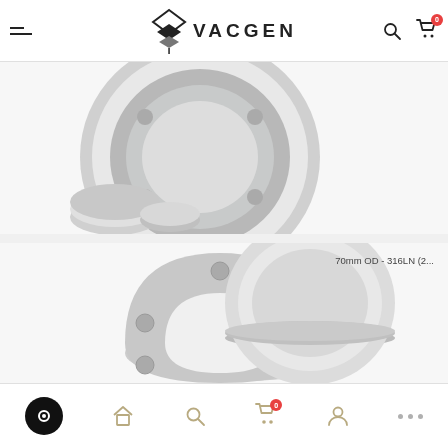VACGEN
[Figure (photo): Vacuum flange components - large circular flange with smaller flanges and fittings, metallic stainless steel finish]
[Figure (photo): 70mm OD - 316LN vacuum flange blank with bolt holes, two stainless steel circular flanges shown]
70mm OD - 316LN (2...
Navigation bar with chat, home, search, cart (0), account, and more icons